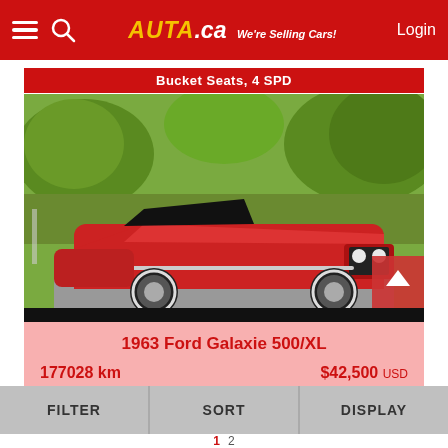AUTA.ca — We're Selling Cars! | Login
Bucket Seats, 4 SPD
[Figure (photo): 1963 Ford Galaxie 500/XL red convertible classic car parked on a driveway surrounded by green trees and lawn]
1963 Ford Galaxie 500/XL
177028 km    $42,500 USD
FILTER    SORT    DISPLAY    1  2